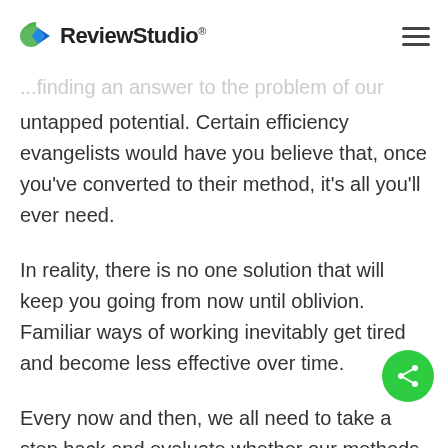ReviewStudio®
untapped potential. Certain efficiency evangelists would have you believe that, once you've converted to their method, it's all you'll ever need.
In reality, there is no one solution that will keep you going from now until oblivion. Familiar ways of working inevitably get tired and become less effective over time.
Every now and then, we all need to take a step back and evaluate whether our methods are indeed still serving us, or if they're